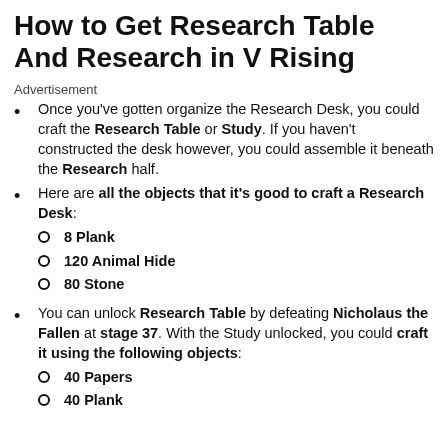How to Get Research Table And Research in V Rising
Advertisement
Once you've gotten organize the Research Desk, you could craft the Research Table or Study. If you haven't constructed the desk however, you could assemble it beneath the Research half.
Here are all the objects that it's good to craft a Research Desk:
8 Plank
120 Animal Hide
80 Stone
You can unlock Research Table by defeating Nicholaus the Fallen at stage 37. With the Study unlocked, you could craft it using the following objects:
40 Papers
40 Plank